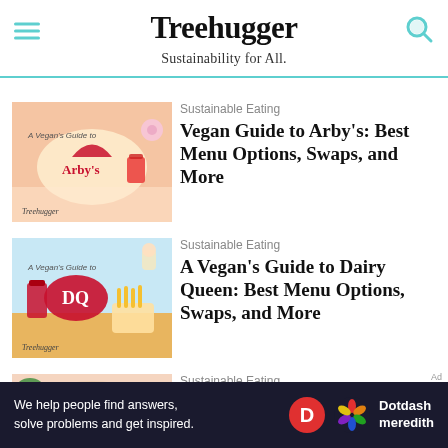Treehugger — Sustainability for All.
Sustainable Eating
Vegan Guide to Arby's: Best Menu Options, Swaps, and More
Sustainable Eating
A Vegan's Guide to Dairy Queen: Best Menu Options, Swaps, and More
Sustainable Eating
Vegan Guide to Applebee's: The Best Menu Options, Swaps, and More
We help people find answers, solve problems and get inspired. Dotdash meredith Ad